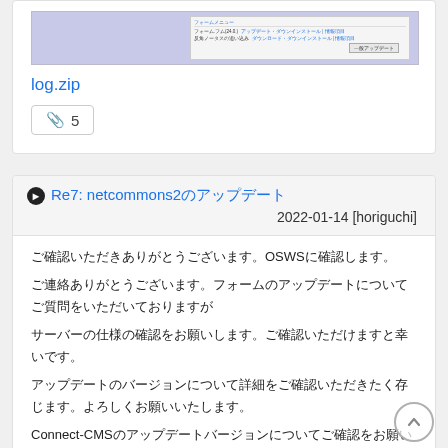[Figure (screenshot): Screenshot of a Japanese software form/update interface with menu items and download options]
log.zip
5
Re7: netcommons2のアップデート
2022-01-14 [horiguchi]
ご確認いただきありがとうございます。OSWSに確認します。
ご連絡ありがとうございます。フォームのアップデートについてご質問をいただいておりますが
サーバーの仕様の確認をお願いします。ご確認いただけますと幸いです。
アップデートのバージョンについて詳細をご確認いただきたく存じます。よろしくお願いいたします。
Connect-CMSのアップデートバージョンについてご確認をお願いしたく存じます。
ご確認いただきありがとうございます。サーバーのアップデートについて詳細のご連絡をお待ちしております。ご確認のほどよろしくお願いいたします。
ご確認よろしくお願いいたします。